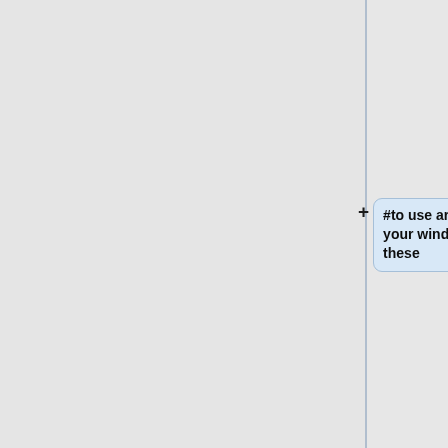sure that whichever hotkeys you wish
#to use are not already used by your windowmanager. Redefine these
#hotkeys or the defaults as necessary.
#
#note: vlc supposedly support global hotkeys, but I didn't have any luck